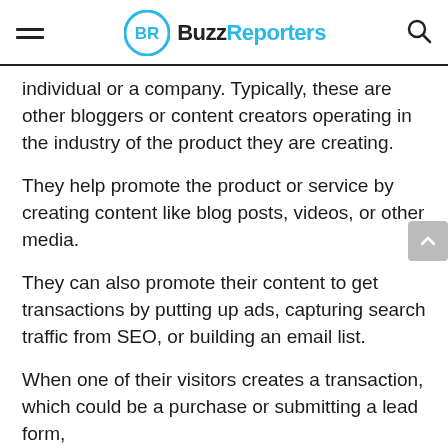BuzzReporters
individual or a company. Typically, these are other bloggers or content creators operating in the industry of the product they are creating.
They help promote the product or service by creating content like blog posts, videos, or other media.
They can also promote their content to get transactions by putting up ads, capturing search traffic from SEO, or building an email list.
When one of their visitors creates a transaction, which could be a purchase or submitting a lead form,